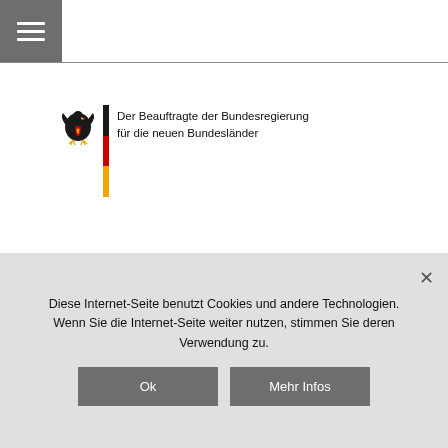[Figure (logo): German federal eagle logo with black-red-gold flag bar and text: Der Beauftragte der Bundesregierung für die neuen Bundesländer]
Gefördert durch:
[Figure (logo): German federal eagle logo with black-red-gold flag bar and text: Bundesministerium für Wirtschaft und Energie]
Diese Internet-Seite benutzt Cookies und andere Technologien. Wenn Sie die Internet-Seite weiter nutzen, stimmen Sie deren Verwendung zu.